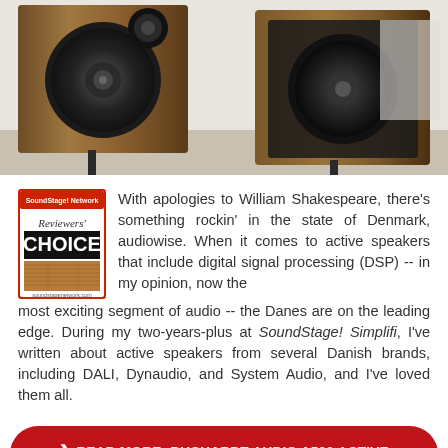[Figure (photo): Close-up photo of two bookshelf speakers with walnut wood cabinets and black drivers on stands against a light background]
[Figure (logo): SoundStage! Network Reviewers' Choice award badge - red and black logo with hardwood floor image]
With apologies to William Shakespeare, there's something rockin' in the state of Denmark, audiowise. When it comes to active speakers that include digital signal processing (DSP) -- in my opinion, now the most exciting segment of audio -- the Danes are on the leading edge. During my two-years-plus at SoundStage! Simplifi, I've written about active speakers from several Danish brands, including DALI, Dynaudio, and System Audio, and I've loved them all.
READ MORE: BUCHARDT AUDIO A500 ACTIVE LOUDSPEAKERS AND STEREO HUB WISA TRANSMITTER